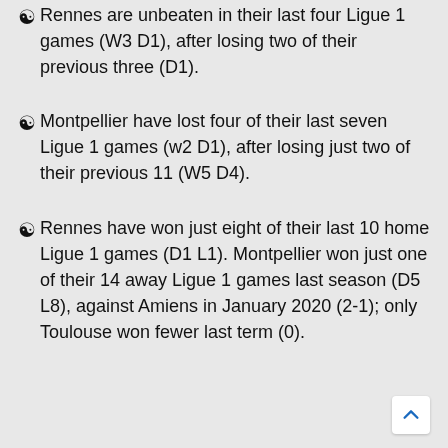Rennes are unbeaten in their last four Ligue 1 games (W3 D1), after losing two of their previous three (D1).
Montpellier have lost four of their last seven Ligue 1 games (w2 D1), after losing just two of their previous 11 (W5 D4).
Rennes have won just eight of their last 10 home Ligue 1 games (D1 L1). Montpellier won just one of their 14 away Ligue 1 games last season (D5 L8), against Amiens in January 2020 (2-1); only Toulouse won fewer last term (0).